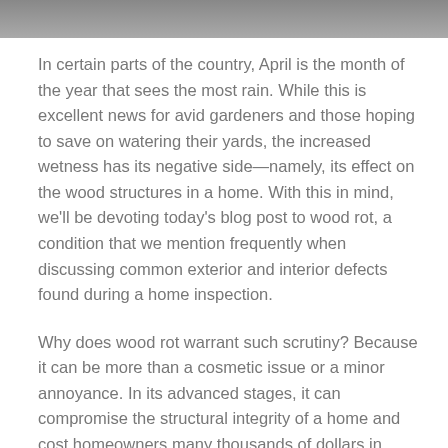[Figure (photo): Partial view of a dark exterior image at the top of the page, likely a house or building structure.]
In certain parts of the country, April is the month of the year that sees the most rain. While this is excellent news for avid gardeners and those hoping to save on watering their yards, the increased wetness has its negative side—namely, its effect on the wood structures in a home. With this in mind, we'll be devoting today's blog post to wood rot, a condition that we mention frequently when discussing common exterior and interior defects found during a home inspection.
Why does wood rot warrant such scrutiny? Because it can be more than a cosmetic issue or a minor annoyance. In its advanced stages, it can compromise the structural integrity of a home and cost homeowners many thousands of dollars in repairs. In